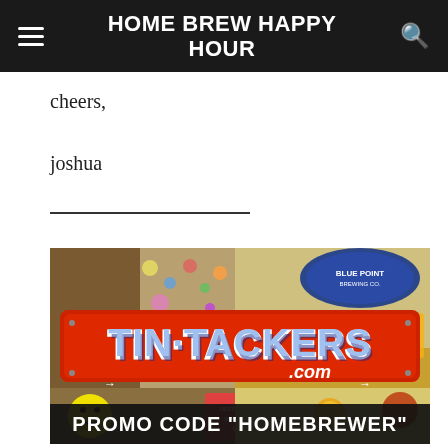HOME BREW HAPPY HOUR
cheers,
joshua
[Figure (photo): Advertisement image for Tin-Tackers.com showing a beer sign collage with the text 'TIN·TACKERS.com' on a red background and 'PROMO CODE "HOMEBREWER"' at the bottom.]